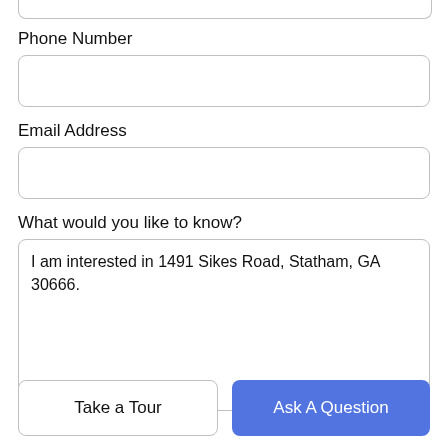[Figure (screenshot): Top portion of a form input field (cropped at top)]
Phone Number
[Figure (screenshot): Phone Number input field (empty)]
Email Address
[Figure (screenshot): Email Address input field (empty)]
What would you like to know?
[Figure (screenshot): Textarea with text: I am interested in 1491 Sikes Road, Statham, GA 30666.]
Take a Tour
Ask A Question